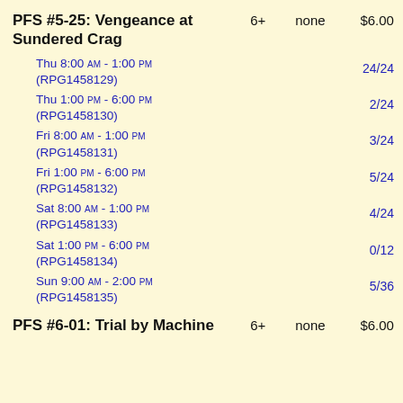PFS #5-25: Vengeance at Sundered Crag
Thu 8:00 AM - 1:00 PM (RPG1458129)
Thu 1:00 PM - 6:00 PM (RPG1458130)
Fri 8:00 AM - 1:00 PM (RPG1458131)
Fri 1:00 PM - 6:00 PM (RPG1458132)
Sat 8:00 AM - 1:00 PM (RPG1458133)
Sat 1:00 PM - 6:00 PM (RPG1458134)
Sun 9:00 AM - 2:00 PM (RPG1458135)
PFS #6-01: Trial by Machine